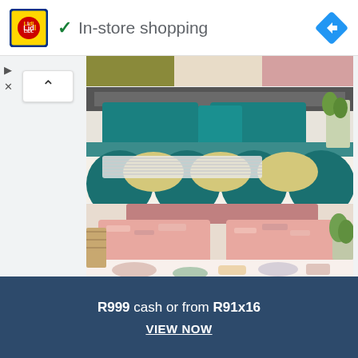[Figure (logo): Lidl logo — yellow square with blue border, red circle with Lidl text]
✓ In-store shopping
[Figure (other): Blue diamond navigation/directions icon]
[Figure (other): Small play and close icons on left side]
[Figure (photo): Bedding product photos: teal/geometric pattern duvet and pink/abstract pattern duvet sets on beds]
R999 cash or from R91x16
VIEW NOW